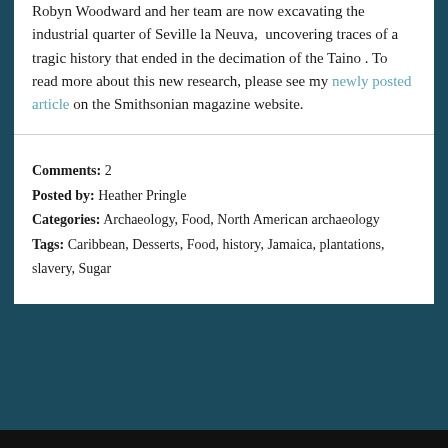Robyn Woodward and her team are now excavating the industrial quarter of Seville la Neuva, uncovering traces of a tragic history that ended in the decimation of the Taino. To read more about this new research, please see my newly posted article on the Smithsonian magazine website.
Comments: 2
Posted by: Heather Pringle
Categories: Archaeology, Food, North American archaeology
Tags: Caribbean, Desserts, Food, history, Jamaica, plantations, slavery, Sugar